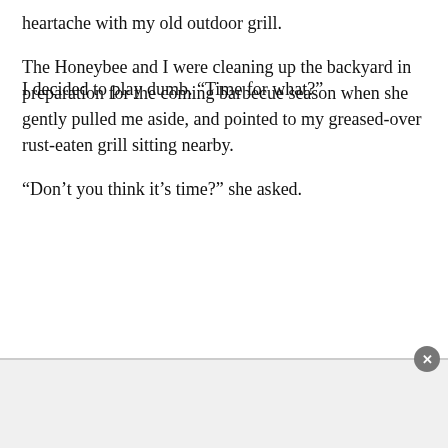heartache with my old outdoor grill.
The Honeybee and I were cleaning up the backyard in preparation for the coming barbecue season when she gently pulled me aside, and pointed to my greased-over rust-eaten grill sitting nearby.
“Don’t you think it’s time?” she asked.
I decided to play dumb. “Time for what?”